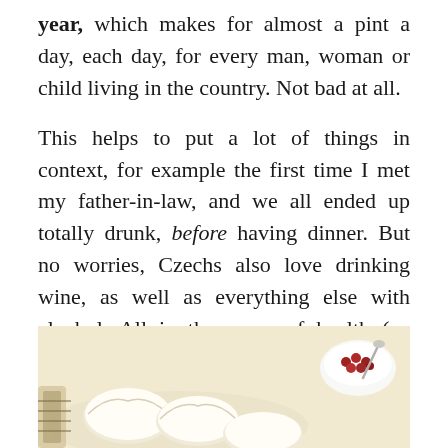year, which makes for almost a pint a day, each day, for every man, woman or child living in the country. Not bad at all.
This helps to put a lot of things in context, for example the first time I met my father-in-law, and we all ended up totally drunk, before having dinner. But no worries, Czechs also love drinking wine, as well as everything else with alcohol. All in the name of health (na zdraví) of course. Of course.
When you are at it, try Kofola. It's the national alternative to Coca Cola. I find it more refreshing!
[Figure (photo): Food photograph showing white dumplings (knedlíky) on a plate and a small white bowl with red berries/cranberries and a spoon, on a light cream/yellow background.]